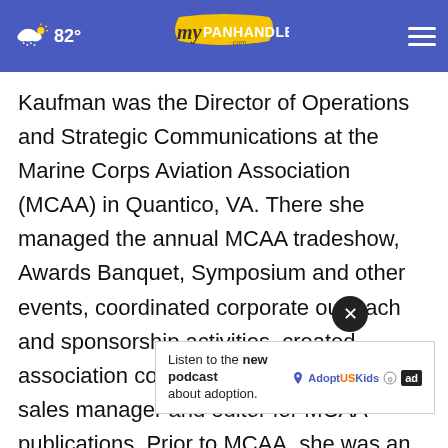myPanhandle.com — 82° weather nav bar
Kaufman was the Director of Operations and Strategic Communications at the Marine Corps Aviation Association (MCAA) in Quantico, VA. There she managed the annual MCAA tradeshow, Awards Banquet, Symposium and other events, coordinated corporate outreach and sponsorship activities, created association communications and was the sales manager and editor for MCAA publications. Prior to MCAA, she was an author and program manager at Kratos Defense author of "The 100 Years of Marine Aviation A...
[Figure (other): Advertisement banner: 'Listen to the new podcast about adoption.' with AdoptUSKids logo and ad badge. Has a close (×) button overlay.]